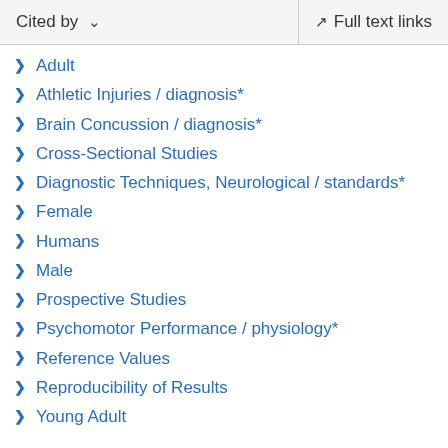Cited by | Full text links
Adult
Athletic Injuries / diagnosis*
Brain Concussion / diagnosis*
Cross-Sectional Studies
Diagnostic Techniques, Neurological / standards*
Female
Humans
Male
Prospective Studies
Psychomotor Performance / physiology*
Reference Values
Reproducibility of Results
Young Adult
LinkOut – more resources
Full Text Sources